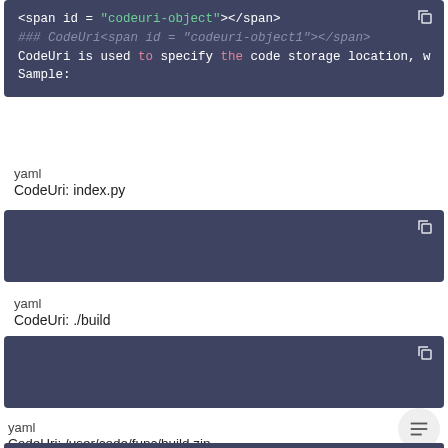[Figure (screenshot): Code box showing HTML span tag with id codeuri-object, a commented heading, and description text about CodeUri]
yaml
CodeUri: index.py
[Figure (screenshot): Empty dark code box with copy icon]
yaml
CodeUri: ./build
[Figure (screenshot): Empty dark code box with copy icon]
yaml
CodeUri: /user/code/func/build.zip